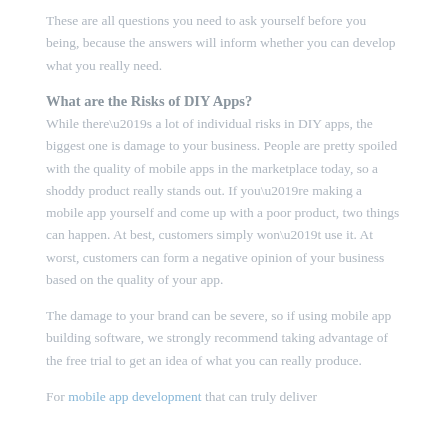These are all questions you need to ask yourself before you being, because the answers will inform whether you can develop what you really need.
What are the Risks of DIY Apps?
While there’s a lot of individual risks in DIY apps, the biggest one is damage to your business. People are pretty spoiled with the quality of mobile apps in the marketplace today, so a shoddy product really stands out. If you’re making a mobile app yourself and come up with a poor product, two things can happen. At best, customers simply won’t use it. At worst, customers can form a negative opinion of your business based on the quality of your app.
The damage to your brand can be severe, so if using mobile app building software, we strongly recommend taking advantage of the free trial to get an idea of what you can really produce.
For mobile app development that can truly deliver